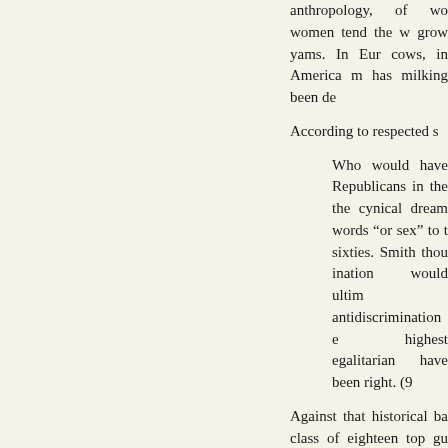anthropology, of wo women tend the w grow yams. In Eur cows, in America m has milking been de
According to respected s
Who would have Republicans in the the cynical dream words “or sex” to t sixties. Smith thou ination would ultim antidiscrimination e highest egalitarian have been right. (9
Against that historical ba class of eighteen top gu reduced to the very bes wingmen for the primary The class has a represe which seemed about rig me an engineer or to m